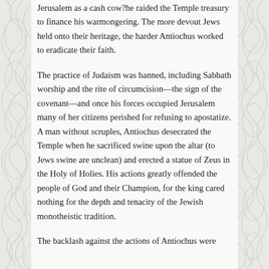Jerusalem as a cash cow?he raided the Temple treasury to finance his warmongering. The more devout Jews held onto their heritage, the harder Antiochus worked to eradicate their faith.
The practice of Judaism was banned, including Sabbath worship and the rite of circumcision—the sign of the covenant—and once his forces occupied Jerusalem many of her citizens perished for refusing to apostatize. A man without scruples, Antiochus desecrated the Temple when he sacrificed swine upon the altar (to Jews swine are unclean) and erected a statue of Zeus in the Holy of Holies. His actions greatly offended the people of God and their Champion, for the king cared nothing for the depth and tenacity of the Jewish monotheistic tradition.
The backlash against the actions of Antiochus were